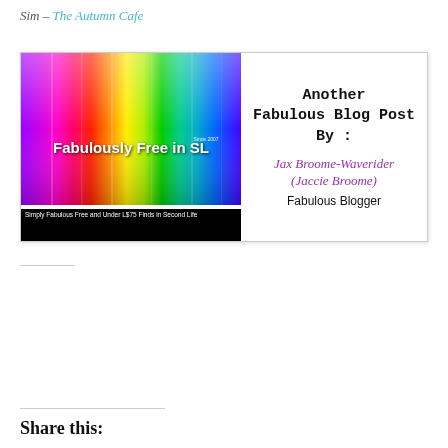Sim – The Autumn Cafe
[Figure (illustration): Fabulously Free in SL blog banner image. Left half shows a rainbow gradient vertical stripes background with text 'Fabulously Free in SL' and subtitle 'Simply Fabulous Free and Under L$75 Finds in Second Life'. Right half shows text 'Another Fabulous Blog Post By :' followed by cursive purple text 'Jax Broome-Waverider (Jaccie Broome)' and 'Fabulous Blogger'.]
Share this: